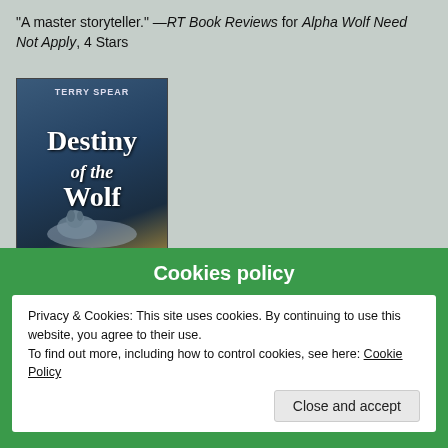“A master storyteller.” —RT Book Reviews for Alpha Wolf Need Not Apply, 4 Stars
[Figure (photo): Book cover for 'Destiny of the Wolf' by Terry Spear, showing a dark blue/grey wolf scene]
Book 1
[Figure (photo): Book cover for 'Wolf Fever' by Terry Spear, showing a warm golden/forest background]
Cookies policy
Privacy & Cookies: This site uses cookies. By continuing to use this website, you agree to their use.
To find out more, including how to control cookies, see here: Cookie Policy
Close and accept